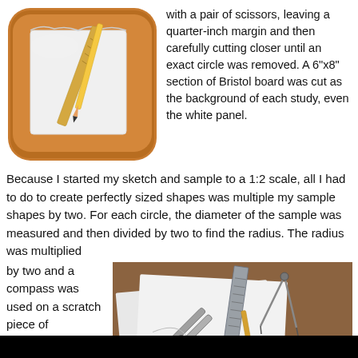[Figure (photo): Illustration icon showing a clipboard/sketchpad with pencil and ruler on an orange-brown rounded rectangle background]
with a pair of scissors, leaving a quarter-inch margin and then carefully cutting closer until an exact circle was removed. A 6"x8" section of Bristol board was cut as the background of each study, even the white panel.
Because I started my sketch and sample to a 1:2 scale, all I had to do to create perfectly sized shapes was multiple my sample shapes by two. For each circle, the diameter of the sample was measured and then divided by two to find the radius. The radius was multiplied
by two and a compass was used on a scratch piece of
[Figure (photo): Photo of scissors, a compass, ruler/pencil on white paper placed on a brown surface]